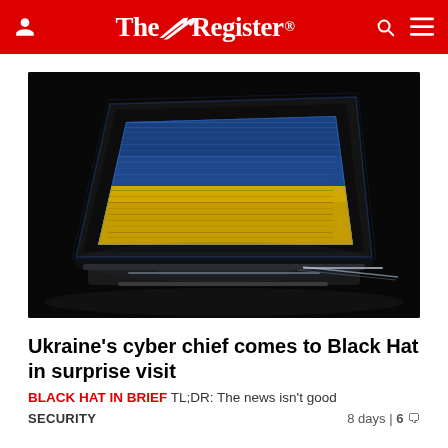The Register
[Figure (photo): Dark glowing laptop computer displaying the Ukrainian flag (blue and yellow) in a dramatic, stylized digital art style against a black background]
Ukraine's cyber chief comes to Black Hat in surprise visit
BLACK HAT IN BRIEF TL;DR: The news isn't good
SECURITY  8 days | 6 comments